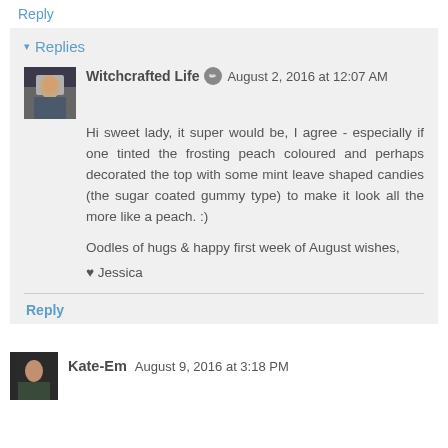Reply
▾ Replies
Witchcrafted Life  August 2, 2016 at 12:07 AM
Hi sweet lady, it super would be, I agree - especially if one tinted the frosting peach coloured and perhaps decorated the top with some mint leave shaped candies (the sugar coated gummy type) to make it look all the more like a peach. :)

Oodles of hugs & happy first week of August wishes,
♥ Jessica
Reply
Kate-Em  August 9, 2016 at 3:18 PM